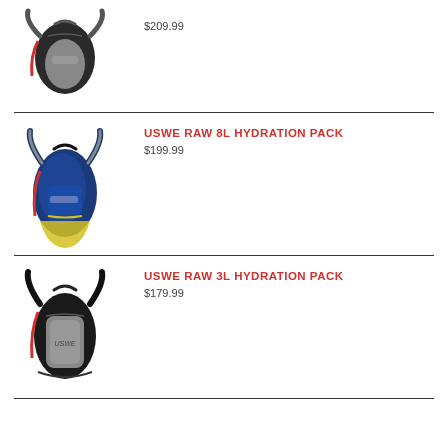[Figure (photo): Product image of a hydration pack (black/grey), partially visible at top]
$209.99
[Figure (photo): USWE RAW 8L Hydration Pack in blue/yellow coloring]
USWE RAW 8L HYDRATION PACK
$199.99
[Figure (photo): USWE RAW 3L Hydration Pack in black/grey coloring]
USWE RAW 3L HYDRATION PACK
$179.99